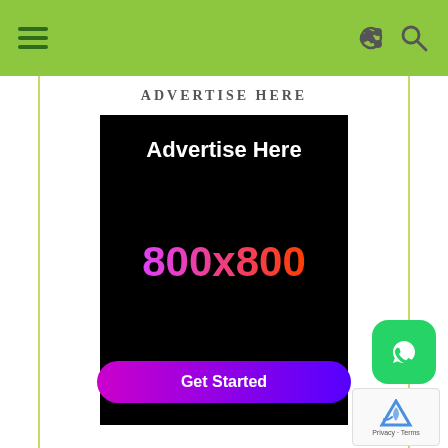Navigation header with hamburger menu, share icon, and search icon on green background
ADVERTISE HERE
[Figure (infographic): Black advertisement banner showing 'Advertise Here' text in white at top, '800x800' in pink-to-orange gradient in center, and a purple 'Get Started' button at bottom]
[Figure (logo): WhatsApp icon button (green rounded square with white phone/message logo)]
[Figure (other): reCAPTCHA badge showing Google reCAPTCHA logo with 'Privacy - Terms' text]